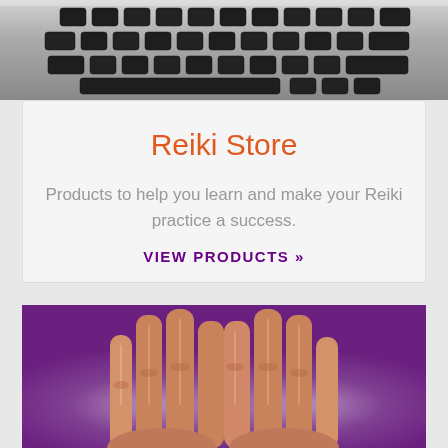[Figure (photo): Close-up of a laptop keyboard, showing dark keys on a silver/white laptop, viewed from above at an angle.]
Reiki Store
Products to help you learn and make your Reiki practice a success.
VIEW PRODUCTS »
[Figure (photo): Two hands with fingers pointing upward against a purple background with white glow/light emanating around the hands, suggesting Reiki energy healing.]